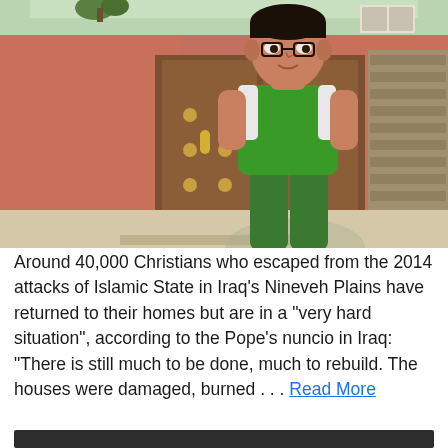[Figure (photo): A young man wearing a green athletic jersey stands in front of a building with a decorative brown wooden gate and terracotta/salmon-colored walls. There are plants visible on the rooftop.]
Around 40,000 Christians who escaped from the 2014 attacks of Islamic State in Iraq's Nineveh Plains have returned to their homes but are in a "very hard situation", according to the Pope's nuncio in Iraq: "There is still much to be done, much to rebuild. The houses were damaged, burned . . . Read More